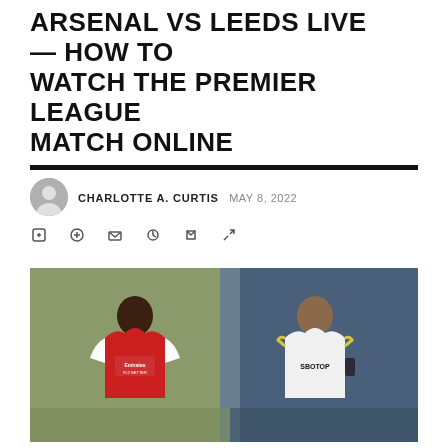ARSENAL VS LEEDS LIVE — HOW TO WATCH THE PREMIER LEAGUE MATCH ONLINE
CHARLOTTE A. CURTIS   MAY 8, 2022
[Figure (photo): Split composite photo: left side shows an Arsenal player in red 'Emirates Fly Better' kit, right side shows a Leeds United player in white 'SBOTOP' kit]